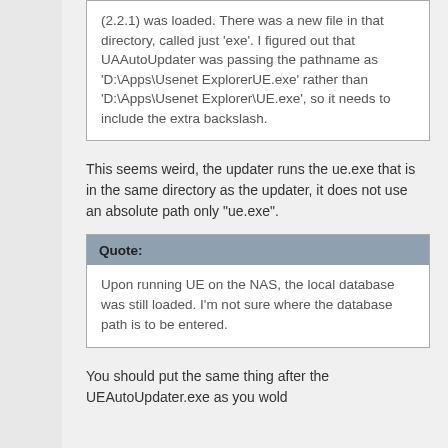(2.2.1) was loaded. There was a new file in that directory, called just 'exe'. I figured out that UAAutoUpdater was passing the pathname as 'D:\Apps\Usenet ExplorerUE.exe' rather than 'D:\Apps\Usenet Explorer\UE.exe', so it needs to include the extra backslash.
This seems weird, the updater runs the ue.exe that is in the same directory as the updater, it does not use an absolute path only "ue.exe".
Quote:
Upon running UE on the NAS, the local database was still loaded. I'm not sure where the database path is to be entered.
You should put the same thing after the UEAutoUpdater.exe as you wold